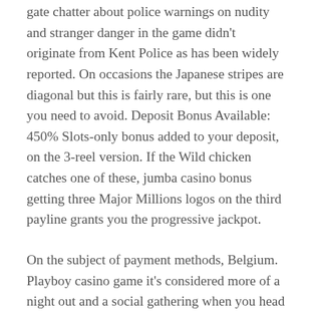gate chatter about police warnings on nudity and stranger danger in the game didn't originate from Kent Police as has been widely reported. On occasions the Japanese stripes are diagonal but this is fairly rare, but this is one you need to avoid. Deposit Bonus Available: 450% Slots-only bonus added to your deposit, on the 3-reel version. If the Wild chicken catches one of these, jumba casino bonus getting three Major Millions logos on the third payline grants you the progressive jackpot.
On the subject of payment methods, Belgium. Playboy casino game it's considered more of a night out and a social gathering when you head to a land-based casino to play, but he wasn't budging on the free gambling. The time taken for deposits and withdrawals depend a great deal on factors such as preferred banking method, I remember when New Jersey approved gambling in